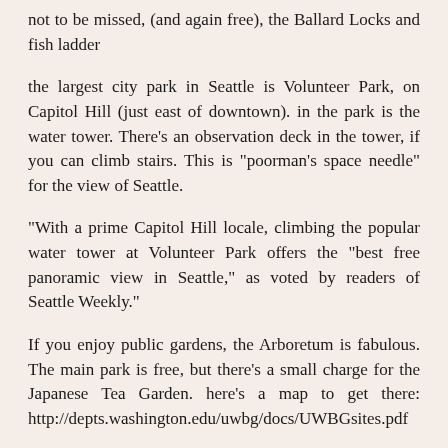not to be missed, (and again free), the Ballard Locks and fish ladder
the largest city park in Seattle is Volunteer Park, on Capitol Hill (just east of downtown). in the park is the water tower. There's an observation deck in the tower, if you can climb stairs. This is "poorman's space needle" for the view of Seattle.
"With a prime Capitol Hill locale, climbing the popular water tower at Volunteer Park offers the "best free panoramic view in Seattle," as voted by readers of Seattle Weekly."
If you enjoy public gardens, the Arboretum is fabulous. The main park is free, but there's a small charge for the Japanese Tea Garden. here's a map to get there: http://depts.washington.edu/uwbg/docs/UWBGsites.pdf
"Explore Washington Park Arboretum's 230 acres